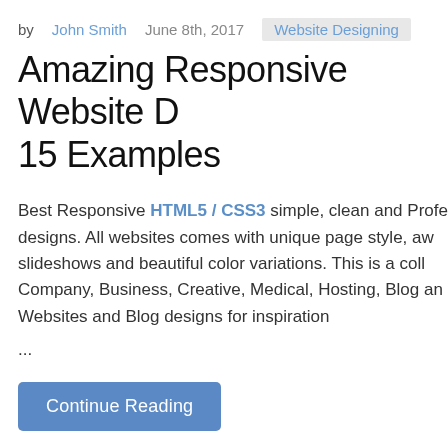by John Smith   June 8th, 2017   Website Designing
Amazing Responsive Website D... 15 Examples
Best Responsive HTML5 / CSS3 simple, clean and Profe... designs. All websites comes with unique page style, aw... slideshows and beautiful color variations. This is a coll... Company, Business, Creative, Medical, Hosting, Blog an... Websites and Blog designs for inspiration
...
Continue Reading